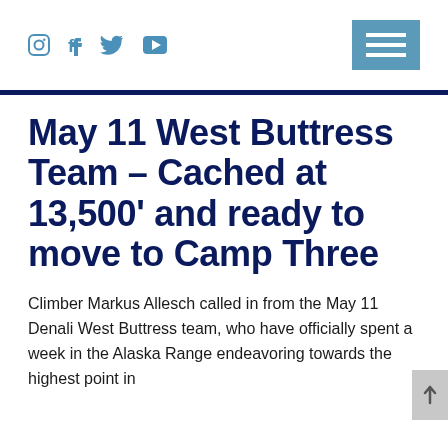Social media icons (Instagram, Facebook, Twitter, YouTube) and hamburger menu button
May 11 West Buttress Team – Cached at 13,500' and ready to move to Camp Three
Climber Markus Allesch called in from the May 11 Denali West Buttress team, who have officially spent a week in the Alaska Range endeavoring towards the highest point in